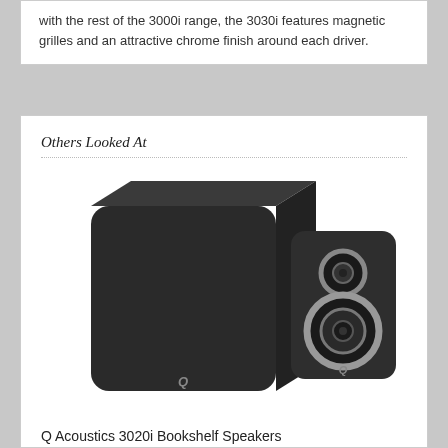with the rest of the 3000i range, the 3030i features magnetic grilles and an attractive chrome finish around each driver.
Others Looked At
[Figure (photo): Two Q Acoustics 3020i bookshelf speakers shown side by side — one facing away (rear/side view, matte black enclosure) and one facing forward (front view showing tweeter and woofer drivers with grey surrounds), both with the Q Acoustics logo on the front baffle.]
Q Acoustics 3020i Bookshelf Speakers